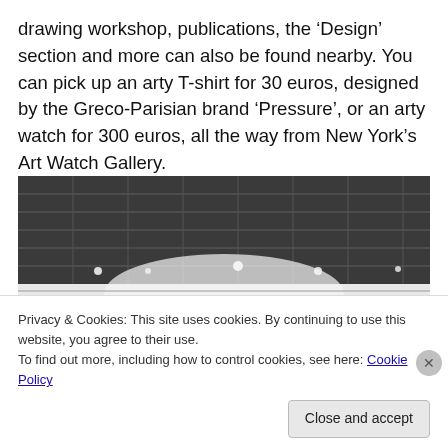drawing workshop, publications, the 'Design' section and more can also be found nearby. You can pick up an arty T-shirt for 30 euros, designed by the Greco-Parisian brand 'Pressure', or an arty watch for 300 euros, all the way from New York's Art Watch Gallery.
[Figure (photo): Interior of an art fair booth showing white walls, industrial ceiling with grid structure and lighting tracks, and various artworks displayed including colorful sculptural objects on the floor and walls.]
Privacy & Cookies: This site uses cookies. By continuing to use this website, you agree to their use.
To find out more, including how to control cookies, see here: Cookie Policy